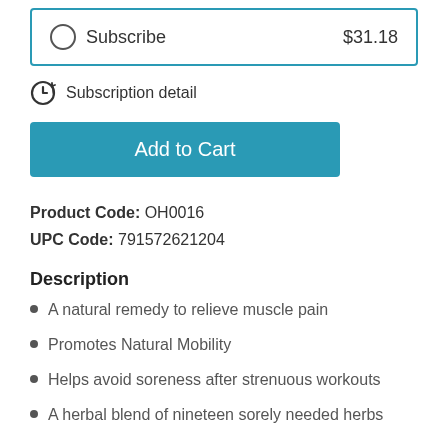Subscribe $31.18
Subscription detail
Add to Cart
Product Code: OH0016
UPC Code: 791572621204
Description
A natural remedy to relieve muscle pain
Promotes Natural Mobility
Helps avoid soreness after strenuous workouts
A herbal blend of nineteen sorely needed herbs